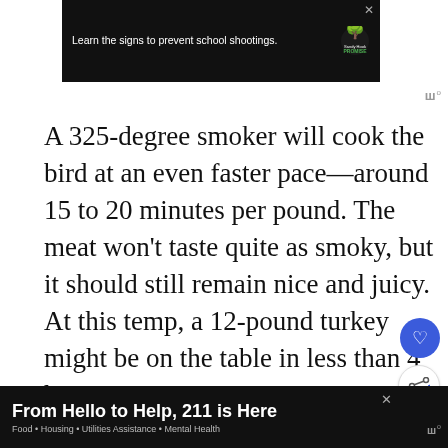[Figure (screenshot): Sandy Hook Promise advertisement banner: black background with text 'Learn the signs to prevent school shootings.' and Sandy Hook Promise logo with tree icon. Close X button in top right.]
A 325-degree smoker will cook the bird at an even faster pace—around 15 to 20 minutes per pound. The meat won't taste quite as smoky, but it should still remain nice and juicy. At this temp, a 12-pound turkey might be on the table in less than 4 hours.
[Figure (infographic): WHAT'S NEXT arrow label with thumbnail image and text 'How Long Can a Thawed...']
Can You Smoke a Frozen
[Figure (screenshot): Bottom advertisement banner: black background with white bold text 'From Hello to Help, 211 is Here' and subtitle 'Food • Housing • Utilities Assistance • Mental Health'. Close X button and W° icon on right.]